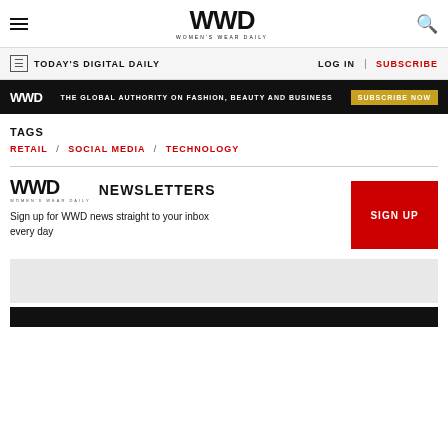WWD Women's Wear Daily
TODAY'S DIGITAL DAILY | LOG IN | SUBSCRIBE
WWD | THE GLOBAL AUTHORITY ON FASHION, BEAUTY AND BUSINESS | SUBSCRIBE NOW
TAGS
RETAIL / SOCIAL MEDIA / TECHNOLOGY
WWD NEWSLETTERS
Sign up for WWD news straight to your inbox every day